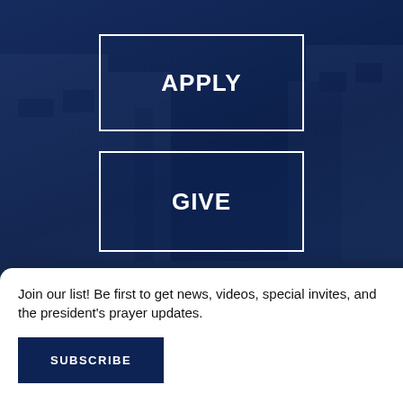[Figure (screenshot): Dark navy blue background section with university campus building visible faintly behind overlay]
APPLY
GIVE
Join our list! Be first to get news, videos, special invites, and the president's prayer updates.
SUBSCRIBE